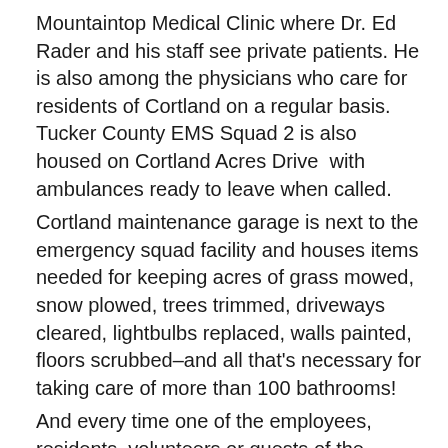Mountaintop Medical Clinic where Dr. Ed Rader and his staff see private patients. He is also among the physicians who care for residents of Cortland on a regular basis. Tucker County EMS Squad 2 is also housed on Cortland Acres Drive  with ambulances ready to leave when called.
Cortland maintenance garage is next to the emergency squad facility and houses items needed for keeping acres of grass mowed, snow plowed, trees trimmed, driveways cleared, lightbulbs replaced, walls painted, floors scrubbed–and all that's necessary for taking care of more than 100 bathrooms!
And every time one of the employees, residents, volunteers or guests of the residents pulls out onto US Rt. 219–especially when it's foggy or icy–they wonder how much longer it will be before West Virginia Division of Highways provides sufficient warning signals–in both